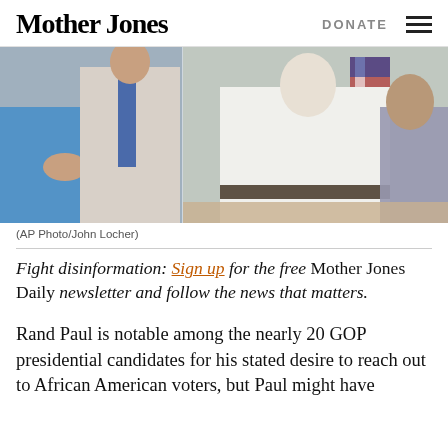Mother Jones | DONATE
[Figure (photo): Photo of people at what appears to be a political event, with an American flag visible in the background. A woman in blue and a man in a blue tie are on the left, and a man in a white shirt is prominent on the right.]
(AP Photo/John Locher)
Fight disinformation: Sign up for the free Mother Jones Daily newsletter and follow the news that matters.
Rand Paul is notable among the nearly 20 GOP presidential candidates for his stated desire to reach out to African American voters, but Paul might have